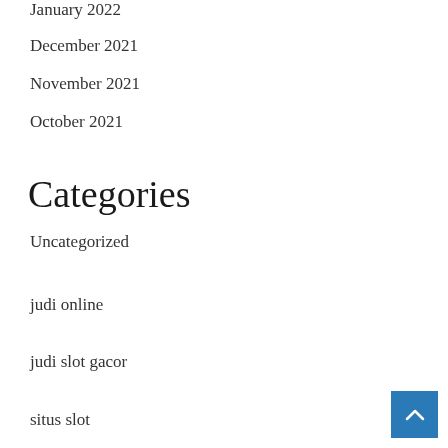January 2022
December 2021
November 2021
October 2021
Categories
Uncategorized
judi online
judi slot gacor
situs slot